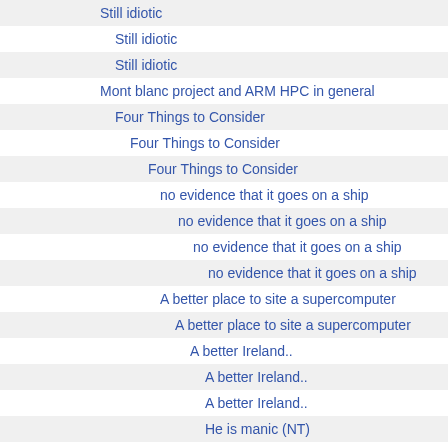Still idiotic
Still idiotic
Still idiotic
Mont blanc project and ARM HPC in general
Four Things to Consider
Four Things to Consider
Four Things to Consider
no evidence that it goes on a ship
no evidence that it goes on a ship
no evidence that it goes on a ship
no evidence that it goes on a ship
A better place to site a supercomputer
A better place to site a supercomputer
A better Ireland..
A better Ireland..
A better Ireland..
He is manic (NT)
or a bot
or a bot
or a bot
or a bot
Better bot example: amanfrommars1